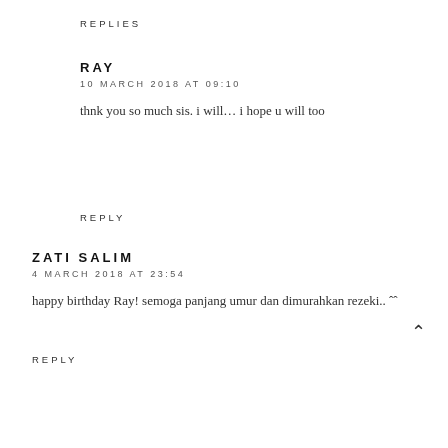REPLIES
RAY
10 MARCH 2018 AT 09:10
thnk you so much sis. i will... i hope u will too
REPLY
ZATI SALIM
4 MARCH 2018 AT 23:54
happy birthday Ray! semoga panjang umur dan dimurahkan rezeki.. ˆˆ
REPLY